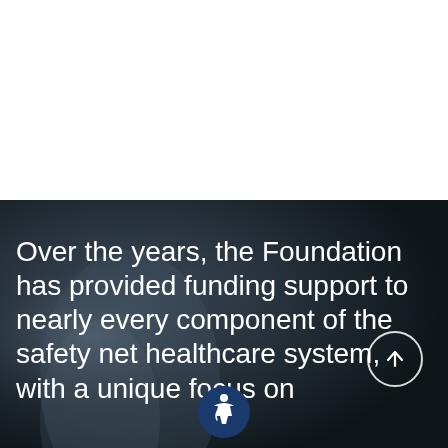[Figure (photo): Dark background photo of a person in a suit, blurred/bokeh style, occupying the lower half of the page]
Over the years, the Foundation has provided funding support to nearly every component of the safety net healthcare system, with a unique focus on